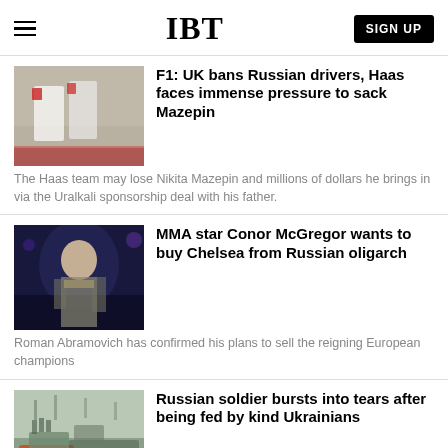IBT
[Figure (photo): Two F1 drivers in Haas team uniforms walking in the pit lane]
F1: UK bans Russian drivers, Haas faces immense pressure to sack Mazepin
The Haas team may lose Nikita Mazepin and millions of dollars he brings in via the Uralkali sponsorship deal with his father.
[Figure (photo): Conor McGregor shirtless in fighting pose under stage lights]
MMA star Conor McGregor wants to buy Chelsea from Russian oligarch
Roman Abramovich has confirmed his plans to sell the reigning European champions
[Figure (photo): Russian military vehicle with rocket launcher in a bare winter landscape]
Russian soldier bursts into tears after being fed by kind Ukrainians